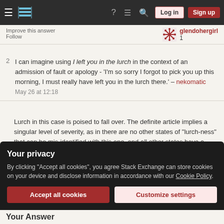Stack Exchange navigation bar with Log in and Sign up buttons
Improve this answer
Follow
glendohergirl 1
2 I can imagine using I left you in the lurch in the context of an admission of fault or apology - 'I'm so sorry I forgot to pick you up this morning, I must really have left you in the lurch there.' – nekomatic May 26 at 12:18
Lurch in this case is poised to fall over. The definite article implies a singular level of severity, as in there are no other states of "lurch-ness" that can be mis-identified with this one, and all other states have a lower concentration and thus can be considered derivative or watered-down.
– EngrStudent May 26 at 12:45
Your privacy
By clicking "Accept all cookies", you agree Stack Exchange can store cookies on your device and disclose information in accordance with our Cookie Policy.
Accept all cookies
Customize settings
Your Answer